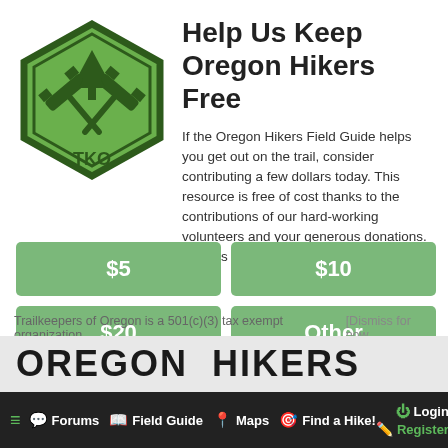[Figure (logo): Trailkeepers of Oregon (TKO) hexagonal green logo with two crossed pickaxes and a pine tree, text TKO at bottom]
Help Us Keep Oregon Hikers Free
If the Oregon Hikers Field Guide helps you get out on the trail, consider contributing a few dollars today. This resource is free of cost thanks to the contributions of our hard-working volunteers and your generous donations. Help us keep it that way!
$5
$10
$20
Other
Trailkeepers of Oregon is a 501(c)(3) tax exempt organization.
[Dismiss for now
OREGON HIKERS
≡  Forums  Field Guide  Maps  Find a Hike!  Login  Register